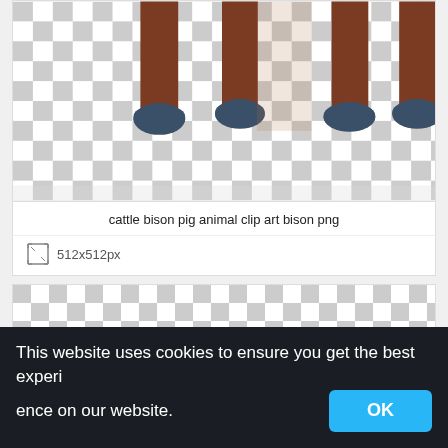[Figure (illustration): Lower legs and hooves of a bison/cattle animal illustration cropped at top, shown over a gray and white checkerboard transparent background. Brown legs with dark blue-gray hooves.]
cattle bison pig animal clip art bison png
512x512px
[Figure (illustration): Gray and white checkerboard pattern representing a transparent PNG background, no visible content on it.]
This website uses cookies to ensure you get the best experience on our website.